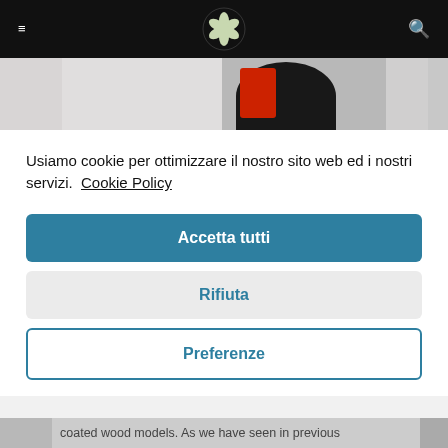Navigation bar with hamburger menu, logo, and search icon
[Figure (photo): Partial photo strip showing a dark-haired figure with red element, partially obscured]
Usiamo cookie per ottimizzare il nostro sito web ed i nostri servizi.  Cookie Policy
Accetta tutti
Rifiuta
Preferenze
coated wood models. As we have seen in previous